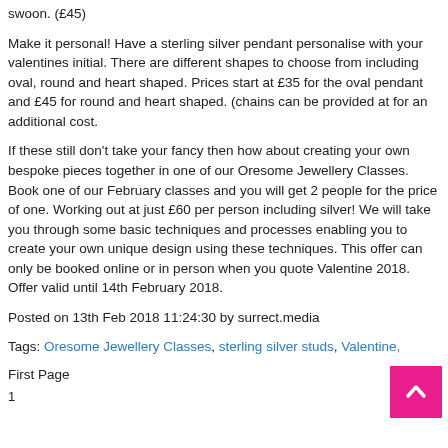swoon. (£45)
Make it personal! Have a sterling silver pendant personalise with your valentines initial. There are different shapes to choose from including oval, round and heart shaped. Prices start at £35 for the oval pendant and £45 for round and heart shaped. (chains can be provided at for an additional cost.
If these still don't take your fancy then how about creating your own bespoke pieces together in one of our Oresome Jewellery Classes. Book one of our February classes and you will get 2 people for the price of one. Working out at just £60 per person including silver! We will take you through some basic techniques and processes enabling you to create your own unique design using these techniques. This offer can only be booked online or in person when you quote Valentine 2018. Offer valid until 14th February 2018.
Posted on 13th Feb 2018 11:24:30 by surrect.media
Tags: Oresome Jewellery Classes, sterling silver studs, Valentine,
First Page
1